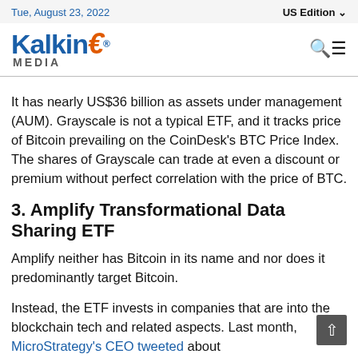Tue, August 23, 2022 | US Edition
[Figure (logo): Kalkine Media logo with blue text and orange arrow-E]
It has nearly US$36 billion as assets under management (AUM). Grayscale is not a typical ETF, and it tracks price of Bitcoin prevailing on the CoinDesk's BTC Price Index. The shares of Grayscale can trade at even a discount or premium without perfect correlation with the price of BTC.
3. Amplify Transformational Data Sharing ETF
Amplify neither has Bitcoin in its name and nor does it predominantly target Bitcoin.
Instead, the ETF invests in companies that are into the blockchain tech and related aspects. Last month, MicroStrategy's CEO tweeted about